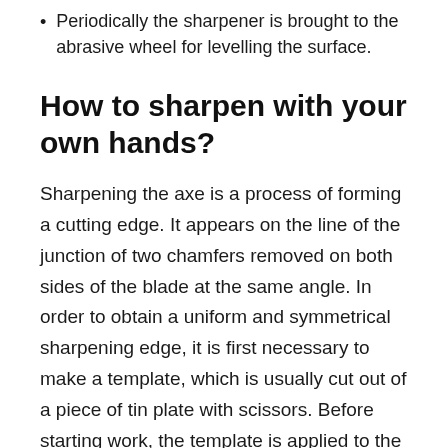Periodically the sharpener is brought to the abrasive wheel for levelling the surface.
How to sharpen with your own hands?
Sharpening the axe is a process of forming a cutting edge. It appears on the line of the junction of two chamfers removed on both sides of the blade at the same angle. In order to obtain a uniform and symmetrical sharpening edge, it is first necessary to make a template, which is usually cut out of a piece of tin plate with scissors. Before starting work, the template is applied to the blade, assess the